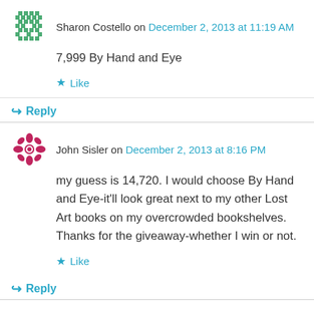Sharon Costello on December 2, 2013 at 11:19 AM
7,999 By Hand and Eye
Like
Reply
John Sisler on December 2, 2013 at 8:16 PM
my guess is 14,720. I would choose By Hand and Eye-it'll look great next to my other Lost Art books on my overcrowded bookshelves. Thanks for the giveaway-whether I win or not.
Like
Reply
Rodney Kiamele on December 2, 2013 at 10:14 PM